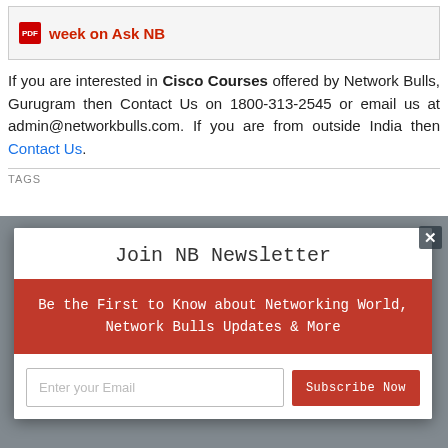[Figure (screenshot): PDF icon with red background and partial text showing 'week on Ask NB' in red bold on light grey banner]
If you are interested in Cisco Courses offered by Network Bulls, Gurugram then Contact Us on 1800-313-2545 or email us at admin@networkbulls.com. If you are from outside India then Contact Us.
TAGS
Join NB Newsletter
Be the First to Know about Networking World, Network Bulls Updates & More
Enter your Email
Subscribe Now